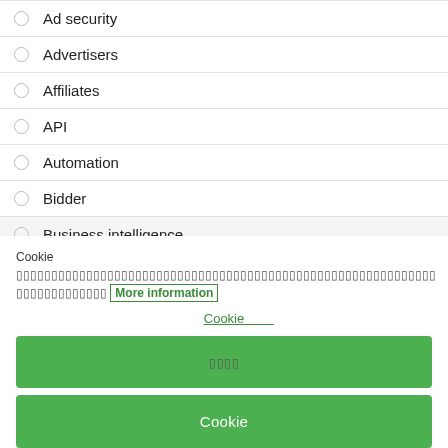Ad security
Advertisers
Affiliates
API
Automation
Bidder
Business intelligence
Cookie [garbled text] More information
Cookie 설정
[garbled] button
Cookie 저장